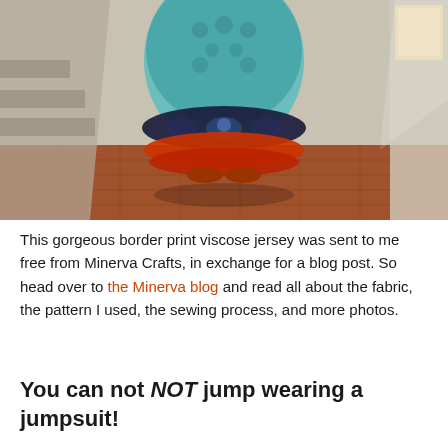[Figure (photo): A person wearing a long flowing border print viscose jersey dress/jumpsuit in blue and orange paisley pattern, standing in a rustic stone room with terracotta tile floor and white walls, with light coming through a small window.]
This gorgeous border print viscose jersey was sent to me free from Minerva Crafts, in exchange for a blog post. So head over to the Minerva blog and read all about the fabric, the pattern I used, the sewing process, and more photos.
You can not NOT jump wearing a jumpsuit!